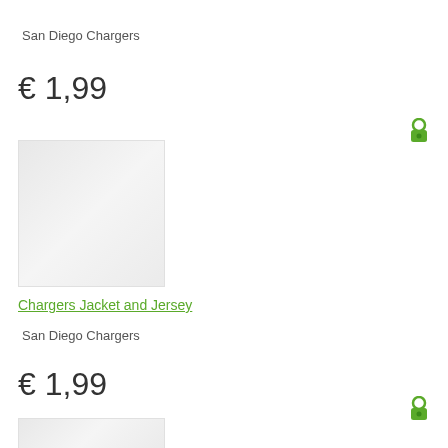San Diego Chargers
€ 1,99
[Figure (photo): Product image placeholder - light gray square]
Chargers Jacket and Jersey
San Diego Chargers
€ 1,99
[Figure (photo): Product image placeholder - light gray square (partial)]